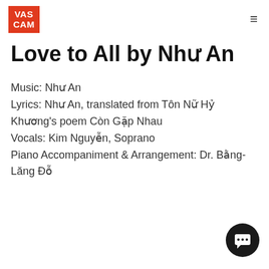VAS CAM
Love to All by Như An
Music: Như An
Lyrics: Như An, translated from Tôn Nữ Hỷ Khương's poem Còn Gặp Nhau
Vocals: Kim Nguyễn, Soprano
Piano Accompaniment & Arrangement: Dr. Bằng-Lăng Đỗ
[Figure (illustration): Chat/message button icon (dark circle with speech bubble)]